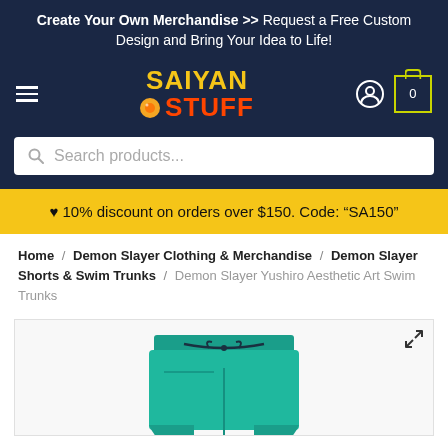Create Your Own Merchandise >> Request a Free Custom Design and Bring Your Idea to Life!
[Figure (logo): Saiyan Stuff logo with yellow SAIYAN text and red STUFF text and orange dragon ball icon]
Search products...
♥ 10% discount on orders over $150. Code: "SA150"
Home / Demon Slayer Clothing & Merchandise / Demon Slayer Shorts & Swim Trunks / Demon Slayer Yushiro Aesthetic Art Swim Trunks
[Figure (photo): Teal/green swim trunks shorts with dark drawstring, partially visible product image]